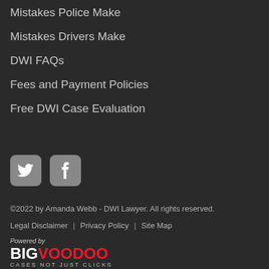Mistakes Police Make
Mistakes Drivers Make
DWI FAQs
Fees and Payment Policies
Free DWI Case Evaluation
[Figure (illustration): Twitter social media icon button (grey rounded square with white bird logo) and Facebook social media icon button (grey rounded square with white 'f' logo)]
©2022 by Amanda Webb - DWI Lawyer. All rights reserved.
Legal Disclaimer | Privacy Policy | Site Map
Powered by BIGVOODOO Cases NOT JUST Clicks